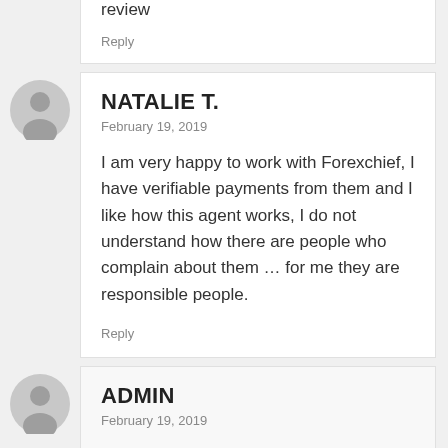review
Reply
NATALIE T.
February 19, 2019
I am very happy to work with Forexchief, I have verifiable payments from them and I like how this agent works, I do not understand how there are people who complain about them … for me they are responsible people.
Reply
ADMIN
February 19, 2019
each situation is diffrent, in our case we can